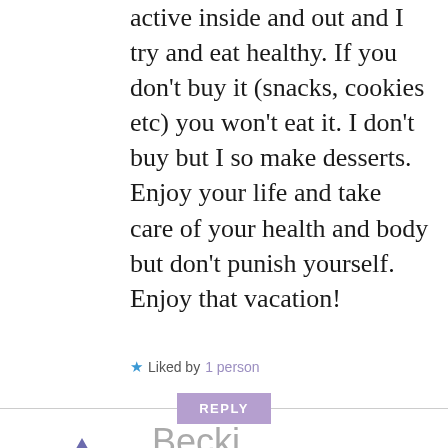active inside and out and I try and eat healthy. If you don't buy it (snacks, cookies etc) you won't eat it. I don't buy but I so make desserts. Enjoy your life and take care of your health and body but don't punish yourself. Enjoy that vacation!
★ Liked by 1 person
REPLY
[Figure (logo): WordPress default avatar - purple snowflake/gear icon]
Becki
NOVEMBER 4, 2019 AT 01:48
How do you pick a favorite